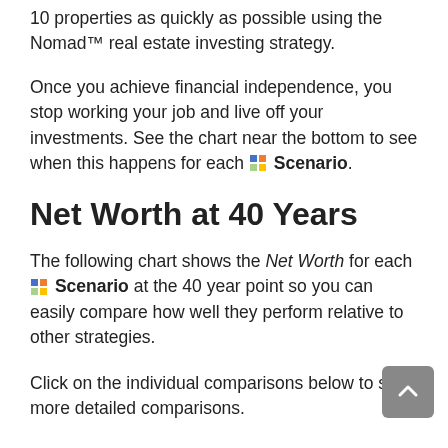10 properties as quickly as possible using the Nomad™ real estate investing strategy.
Once you achieve financial independence, you stop working your job and live off your investments. See the chart near the bottom to see when this happens for each Scenario.
Net Worth at 40 Years
The following chart shows the Net Worth for each Scenario at the 40 year point so you can easily compare how well they perform relative to other strategies.
Click on the individual comparisons below to see more detailed comparisons.